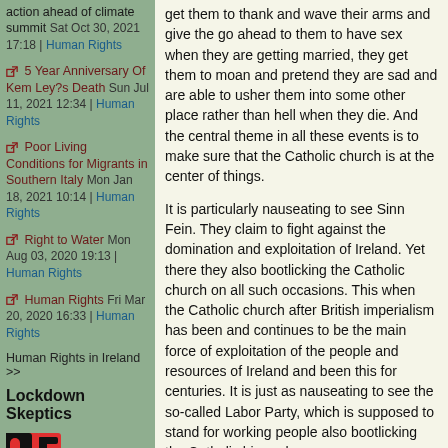action ahead of climate summit Sat Oct 30, 2021 17:18 | Human Rights
5 Year Anniversary Of Kem Ley?s Death Sun Jul 11, 2021 12:34 | Human Rights
Poor Living Conditions for Migrants in Southern Italy Mon Jan 18, 2021 10:14 | Human Rights
Right to Water Mon Aug 03, 2020 19:13 | Human Rights
Human Rights Fri Mar 20, 2020 16:33 | Human Rights
Human Rights in Ireland >>
Lockdown Skeptics
[Figure (logo): DS logo in red and black block letters]
get them to thank and wave their arms and give the go ahead to them to have sex when they are getting married, they get them to moan and pretend they are sad and are able to usher them into some other place rather than hell when they die. And the central theme in all these events is to make sure that the Catholic church is at the center of things.
It is particularly nauseating to see Sinn Fein. They claim to fight against the domination and exploitation of Ireland. Yet there they also bootlicking the Catholic church on all such occasions. This when the Catholic church after British imperialism has been and continues to be the main force of exploitation of the people and resources of Ireland and been this for centuries. It is just as nauseating to see the so-called Labor Party, which is supposed to stand for working people also bootlicking the Catholic hierarchy.
I have given my suggestion as to what members of the Catholic church should do. Leave it. If you cannot do so then form an open and public opposition within it. But do so with your eyes open. When the opposition Liberation Theology movement developed in the Catholic church in the 1970's the Catholic hierarchy collaborated with US imperialism to wipe them out, that is murder them.